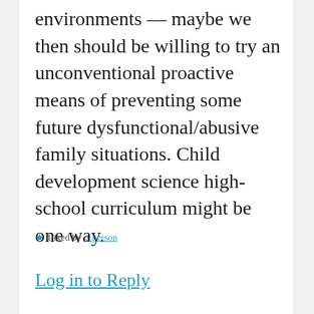environments — maybe we then should be willing to try an unconventional proactive means of preventing some future dysfunctional/abusive family situations. Child development science high-school curriculum might be one way.
★ Liked by 1 person
Log in to Reply